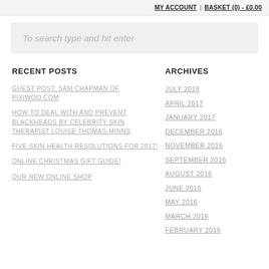MY ACCOUNT | BASKET (0) - £0.00
To search type and hit enter
RECENT POSTS
ARCHIVES
GUEST POST: SAM CHAPMAN OF PIXIWOO.COM
JULY 2018
HOW TO DEAL WITH AND PREVENT BLACKHEADS BY CELEBRITY SKIN THERAPIST LOUISE THOMAS-MINNS
APRIL 2017
JANUARY 2017
FIVE SKIN HEALTH RESOLUTIONS FOR 2017!
DECEMBER 2016
ONLINE CHRISTMAS GIFT GUIDE!
NOVEMBER 2016
SEPTEMBER 2016
OUR NEW ONLINE SHOP
AUGUST 2016
JUNE 2016
MAY 2016
MARCH 2016
FEBRUARY 2016